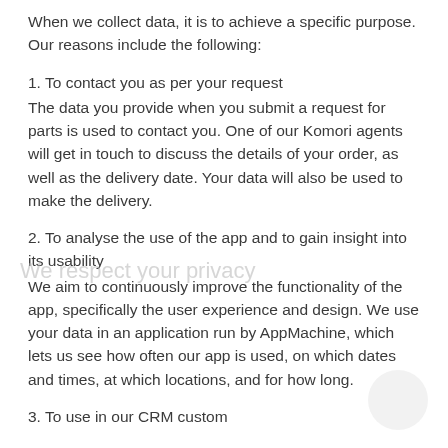When we collect data, it is to achieve a specific purpose. Our reasons include the following:
1. To contact you as per your request
The data you provide when you submit a request for parts is used to contact you. One of our Komori agents will get in touch to discuss the details of your order, as well as the delivery date. Your data will also be used to make the delivery.
2. To analyse the use of the app and to gain insight into its usability
We aim to continuously improve the functionality of the app, specifically the user experience and design. We use your data in an application run by AppMachine, which lets us see how often our app is used, on which dates and times, at which locations, and for how long.
3. To use in our CRM custom